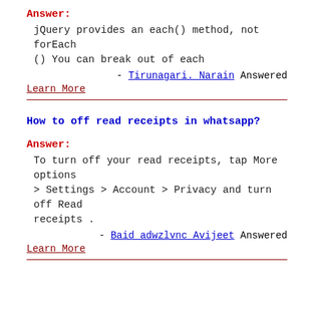Answer:
jQuery provides an each() method, not forEach () You can break out of each
- Tirunagari. Narain Answered
Learn More
How to off read receipts in whatsapp?
Answer:
To turn off your read receipts, tap More options > Settings > Account > Privacy and turn off Read receipts .
- Baid adwzlvnc Avijeet Answered
Learn More